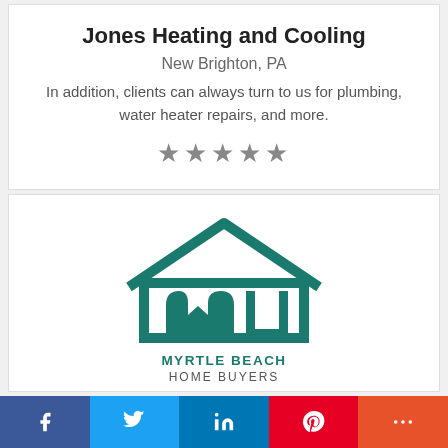Jones Heating and Cooling
New Brighton, PA
In addition, clients can always turn to us for plumbing, water heater repairs, and more.
[Figure (other): Five gray star rating icons]
[Figure (logo): Myrtle Beach Home Buyers logo — teal house icon with MYRTLE BEACH HOME BUYERS text]
Myrtle Beach Home Buyers
Myrtle Beach, SC
f  Twitter  in  Pinterest  +